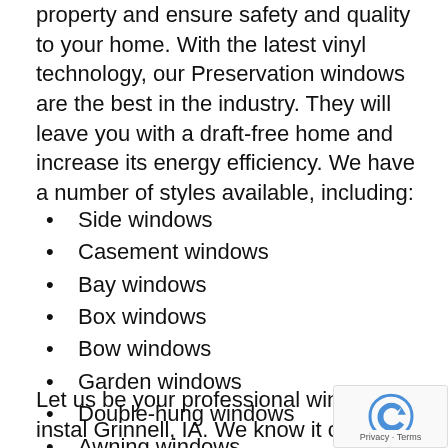property and ensure safety and quality to your home. With the latest vinyl technology, our Preservation windows are the best in the industry. They will leave you with a draft-free home and increase its energy efficiency. We have a number of styles available, including:
Side windows
Casement windows
Bay windows
Box windows
Bow windows
Garden windows
Double-hung windows
Awning windows
Let us be your professional window instal Grinnell, IA. We know it can be stressful doing